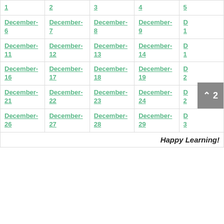| 1 | 2 | 3 | 4 | 5 |
| --- | --- | --- | --- | --- |
| December-6 | December-7 | December-8 | December-9 | D-1 |
| December-11 | December-12 | December-13 | December-14 | D-1 |
| December-16 | December-17 | December-18 | December-19 | D-2 |
| December-21 | December-22 | December-23 | December-24 | D-2 |
| December-26 | December-27 | December-28 | December-29 | D-3 |
Happy Learning!